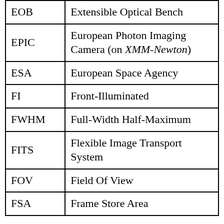| Acronym | Definition |
| --- | --- |
| EOB | Extensible Optical Bench |
| EPIC | European Photon Imaging Camera (on XMM-Newton) |
| ESA | European Space Agency |
| FI | Front-Illuminated |
| FWHM | Full-Width Half-Maximum |
| FITS | Flexible Image Transport System |
| FOV | Field Of View |
| FSA | Frame Store Area |
| Acronym | Definition |
| --- | --- |
| FTOOLS | FITS Tools |
| GO | Guest Observer |